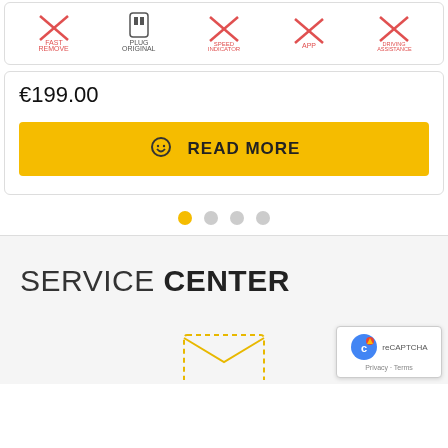[Figure (infographic): Row of crossed-out icons with labels: FAST REMOVE, ORIGINAL PLUG, SPEED INDICATOR, APP, DRIVING ASSISTANCE]
€199.00
[Figure (other): Yellow READ MORE button with shopping bag icon]
[Figure (other): Carousel dots: first dot active (yellow), three inactive (grey)]
SERVICE CENTER
[Figure (illustration): Partial envelope/email icon at bottom]
[Figure (other): reCAPTCHA badge with Privacy - Terms text]